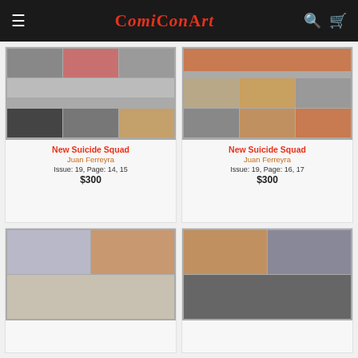ComiConArt
[Figure (illustration): Comic book original art page spread - New Suicide Squad Issue 19 Pages 14-15, pencil and ink with color, multiple comic panels]
New Suicide Squad
Juan Ferreyra
Issue: 19, Page: 14, 15
$300
[Figure (illustration): Comic book original art page spread - New Suicide Squad Issue 19 Pages 16-17, colored comic panels with figures]
New Suicide Squad
Juan Ferreyra
Issue: 19, Page: 16, 17
$300
[Figure (illustration): Comic book original art - partially visible bottom card, colored illustration]
[Figure (illustration): Comic book original art - partially visible bottom card, comic panels]